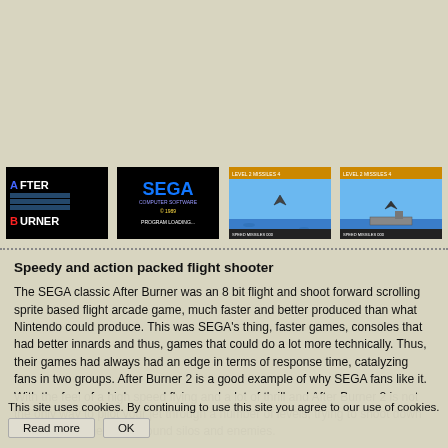[Figure (screenshot): Four screenshots of After Burner game: title screen, SEGA loading screen, and two gameplay screens showing jet over ocean]
Speedy and action packed flight shooter
The SEGA classic After Burner was an 8 bit flight and shoot forward scrolling sprite based flight arcade game, much faster and better produced than what Nintendo could produce. This was SEGA's thing, faster games, consoles that had better innards and thus, games that could do a lot more technically. Thus, their games had always had an edge in terms of response time, catalyzing fans in two groups. After Burner 2 is a good example of why SEGA fans like it. With the feel of a high speed flying and a lot of thrill and After Burner 2 is not the only way to pilot your jet through a number of levels, trying to shoot down the enemy planes, the ground silos and enemies.
This site uses cookies. By continuing to use this site you agree to our use of cookies.